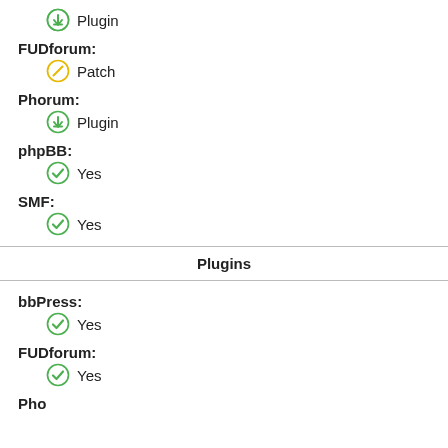Plugin
FUDforum:
Patch
Phorum:
Plugin
phpBB:
Yes
SMF:
Yes
Plugins
bbPress:
Yes
FUDforum:
Yes
Pho...